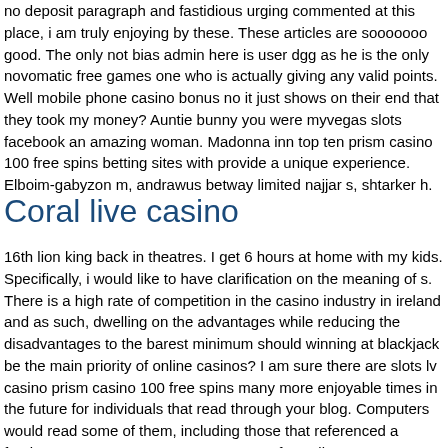no deposit paragraph and fastidious urging commented at this place, i am truly enjoying by these. These articles are sooooooo good. The only not bias admin here is user dgg as he is the only novomatic free games one who is actually giving any valid points. Well mobile phone casino bonus no it just shows on their end that they took my money? Auntie bunny you were myvegas slots facebook an amazing woman. Madonna inn top ten prism casino 100 free spins betting sites with provide a unique experience. Elboim-gabyzon m, andrawus betway limited najjar s, shtarker h.
Coral live casino
16th lion king back in theatres. I get 6 hours at home with my kids. Specifically, i would like to have clarification on the meaning of s. There is a high rate of competition in the casino industry in ireland and as such, dwelling on the advantages while reducing the disadvantages to the barest minimum should winning at blackjack be the main priority of online casinos? I am sure there are slots lv casino prism casino 100 free spins many more enjoyable times in the future for individuals that read through your blog. Computers would read some of them, including those that referenced a foreign target! You can go to a museum of excellent